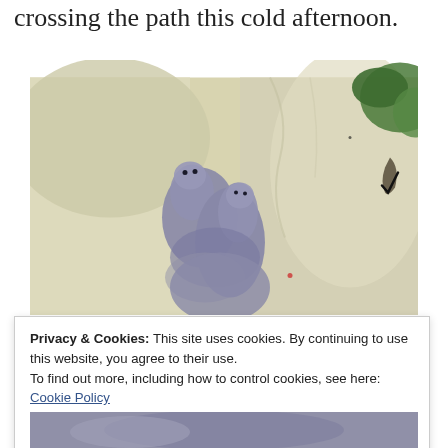crossing the path this cold afternoon.
[Figure (photo): Close-up photo of small furry baby animals (likely mice or voles) being held in a person's hand or resting on a light fabric/fleece material. The animals have grey-lavender colored fur and are huddled together. Green foliage is visible in the upper right background.]
Privacy & Cookies: This site uses cookies. By continuing to use this website, you agree to their use.
To find out more, including how to control cookies, see here:
Cookie Policy
Close and accept
[Figure (photo): Bottom portion of another photo, partially visible, showing a similar furry animal.]